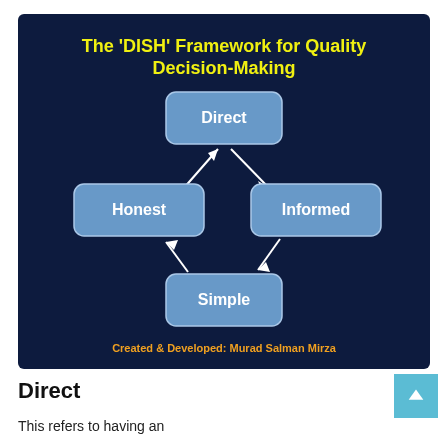[Figure (flowchart): The 'DISH' Framework for Quality Decision-Making. A dark navy blue slide showing four rounded rectangle boxes labeled Direct (top), Informed (right), Simple (bottom), Honest (left), connected by double-headed arrows in a diamond/cycle pattern. Attribution: Created & Developed: Murad Salman Mirza.]
Direct
This refers to having an